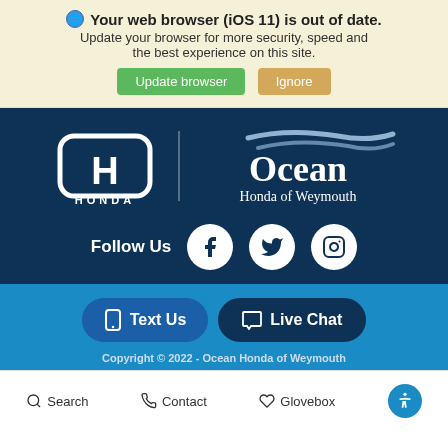🌐 Your web browser (iOS 11) is out of date. Update your browser for more security, speed and the best experience on this site.
[Figure (screenshot): Browser update warning bar with Update browser (green) and Ignore (tan) buttons]
[Figure (logo): Honda logo and Ocean Honda of Weymouth branding on dark navy background]
Follow Us
[Figure (infographic): Social media icons: Facebook, Twitter, Instagram on white circular backgrounds]
[Figure (infographic): Text Us and Live Chat CTA buttons on blue background]
Copyright © 2022 - Ocean Honda of Weymouth
Search   Contact   Glovebox